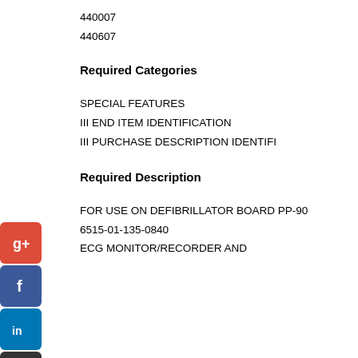440007
440607
Required Categories
SPECIAL FEATURES
III END ITEM IDENTIFICATION
III PURCHASE DESCRIPTION IDENTIFI
Required Description
FOR USE ON DEFIBRILLATOR BOARD PP-90
6515-01-135-0840
ECG MONITOR/RECORDER AND